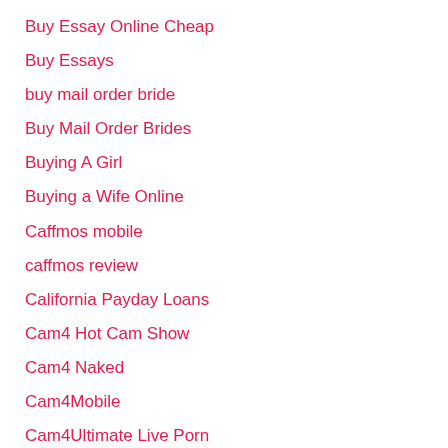Buy Essay Online Cheap
Buy Essays
buy mail order bride
Buy Mail Order Brides
Buying A Girl
Buying a Wife Online
Caffmos mobile
caffmos review
California Payday Loans
Cam4 Hot Cam Show
Cam4 Naked
Cam4Mobile
Cam4Ultimate Live Porn